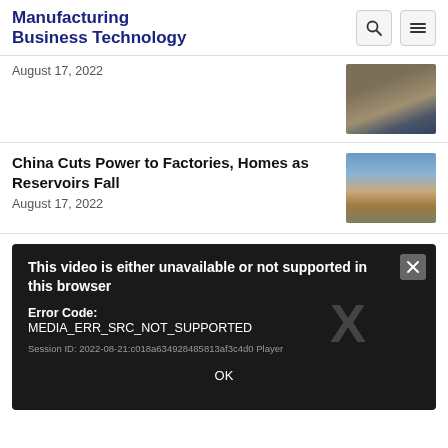Manufacturing Business Technology
August 17, 2022
China Cuts Power to Factories, Homes as Reservoirs Fall
August 17, 2022
This video is either unavailable or not supported in this browser
Error Code: MEDIA_ERR_SRC_NOT_SUPPORTED
Session ID: 2022-08-21:c018a634928485813af3c4d0 Player
OK